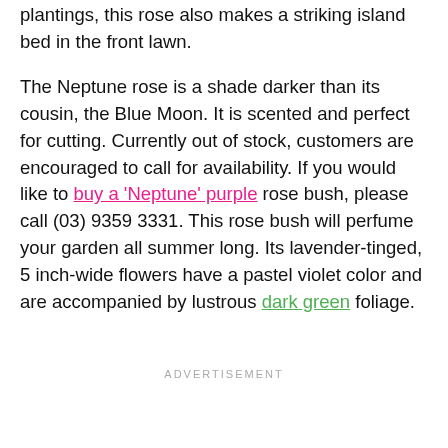plantings, this rose also makes a striking island bed in the front lawn.
The Neptune rose is a shade darker than its cousin, the Blue Moon. It is scented and perfect for cutting. Currently out of stock, customers are encouraged to call for availability. If you would like to buy a 'Neptune' purple rose bush, please call (03) 9359 3331. This rose bush will perfume your garden all summer long. Its lavender-tinged, 5 inch-wide flowers have a pastel violet color and are accompanied by lustrous dark green foliage.
ADVERTISEMENT